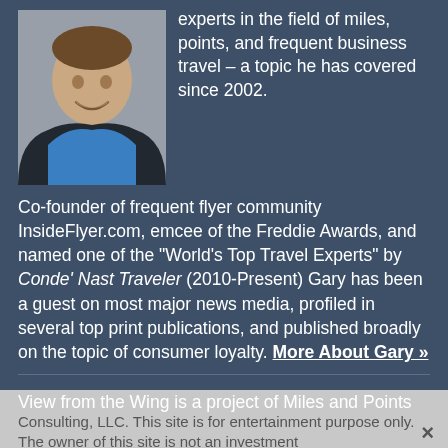[Figure (photo): Headshot photo of a smiling man in a blue shirt and dark blazer]
experts in the field of miles, points, and frequent business travel – a topic he has covered since 2002.
Co-founder of frequent flyer community InsideFlyer.com, emcee of the Freddie Awards, and named one of the "World's Top Travel Experts" by Conde' Nast Traveler (2010-Present) Gary has been a guest on most major news media, profiled in several top print publications, and published broadly on the topic of consumer loyalty. More About Gary »
View from the Wing is a project of Miles and Points Consulting, LLC. This site is for entertainment purpose only. The owner of this site is not an investment